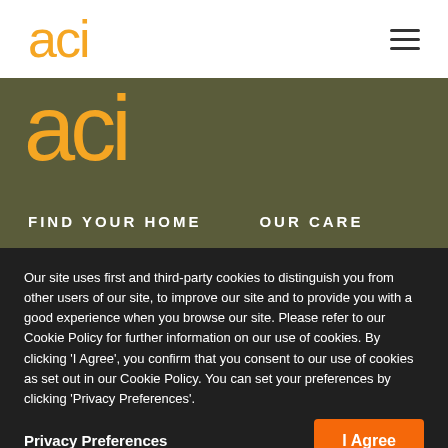[Figure (logo): ACI logo in orange on white nav bar, stylized 'aci' letters]
[Figure (logo): ACI logo large in orange on dark olive background]
FIND YOUR HOME
OUR CARE
Our site uses first and third-party cookies to distinguish you from other users of our site, to improve our site and to provide you with a good experience when you browse our site. Please refer to our Cookie Policy for further information on our use of cookies. By clicking 'I Agree', you confirm that you consent to our use of cookies as set out in our Cookie Policy. You can set your preferences by clicking 'Privacy Preferences'.
Privacy Preferences
I Agree